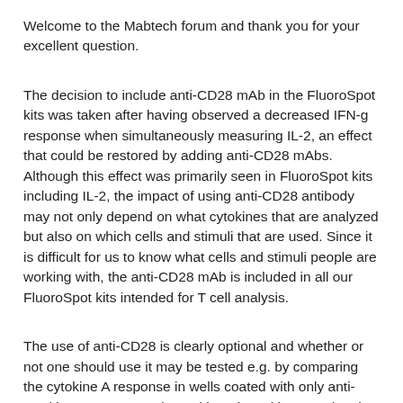Welcome to the Mabtech forum and thank you for your excellent question.
The decision to include anti-CD28 mAb in the FluoroSpot kits was taken after having observed a decreased IFN-g response when simultaneously measuring IL-2, an effect that could be restored by adding anti-CD28 mAbs. Although this effect was primarily seen in FluoroSpot kits including IL-2, the impact of using anti-CD28 antibody may not only depend on what cytokines that are analyzed but also on which cells and stimuli that are used. Since it is difficult for us to know what cells and stimuli people are working with, the anti-CD28 mAb is included in all our FluoroSpot kits intended for T cell analysis.
The use of anti-CD28 is clearly optional and whether or not one should use it may be tested e.g. by comparing the cytokine A response in wells coated with only anti-cytokine A capture mAb or with anti-cytokine A and anti-cytokine B capture mAbs. Correspondingly, cytokine B can be analyzed in wells coated